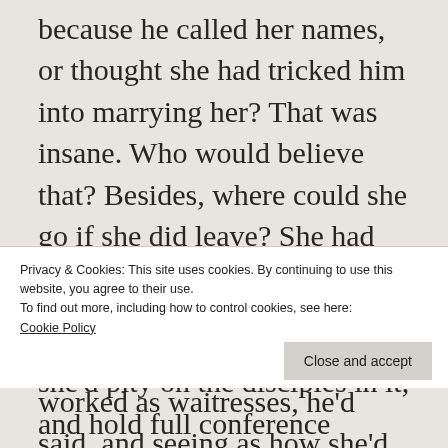because he called her names, or thought she had tricked him into marrying her? That was insane. Who would believe that? Besides, where could she go if she did leave? She had nothing of her own anymore. He'd made her quit the waitressing job — only sluts worked as waitresses, he'd said, and seeing as how she'd got what she wanted with him, he wouldn't have
Privacy & Cookies: This site uses cookies. By continuing to use this website, you agree to their use.
To find out more, including how to control cookies, see here: Cookie Policy
Close and accept
with all the ties she liked, she'd pity on the disciples in it, and hold full conference